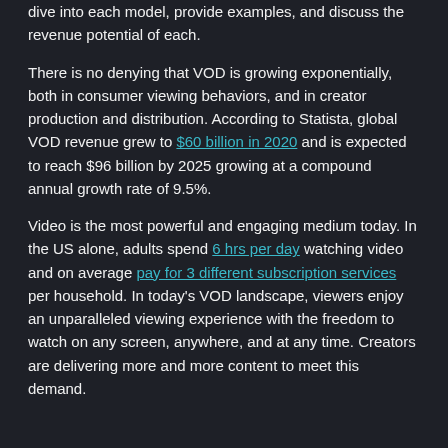dive into each model, provide examples, and discuss the revenue potential of each.
There is no denying that VOD is growing exponentially, both in consumer viewing behaviors, and in creator production and distribution. According to Statista, global VOD revenue grew to $60 billion in 2020 and is expected to reach $96 billion by 2025 growing at a compound annual growth rate of 9.5%.
Video is the most powerful and engaging medium today. In the US alone, adults spend 6 hrs per day watching video and on average pay for 3 different subscription services per household. In today's VOD landscape, viewers enjoy an unparalleled viewing experience with the freedom to watch on any screen, anywhere, and at any time. Creators are delivering more and more content to meet this demand.